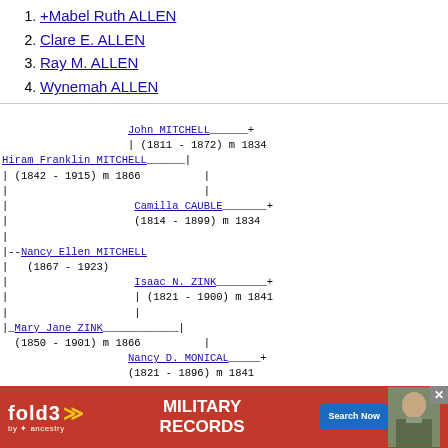+Mabel Ruth ALLEN
Clare E. ALLEN
Ray M. ALLEN
Wynemah ALLEN
Hiram Franklin MITCHELL
| (1842 - 1915) m 1866
|
|
|
|
|--Nancy Ellen MITCHELL
| (1867 - 1923)
|
|
|
|_Mary Jane ZINK
  (1850 - 1901) m 1866

John MITCHELL +
(1811 - 1872) m 1834
|
|
Camilla CAUBLE +
(1814 - 1899) m 1834

Isaac N. ZINK +
| (1821 - 1900) m 1841
|
Nancy D. MONICAL +
(1821 - 1896) m 1841
INDEX
[22986] [S...
[Figure (other): fold3 Military Records advertisement banner by Ancestry]